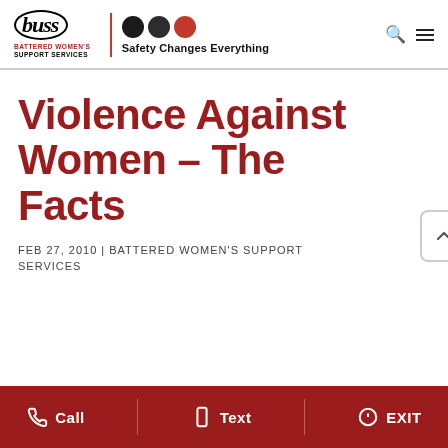[Figure (logo): BUSS - Battered Women's Support Services logo with oval border around 'buss' text, three circles (two black, one red), and tagline 'Safety Changes Everything']
Violence Against Women – The Facts
FEB 27, 2010 | BATTERED WOMEN'S SUPPORT SERVICES
Call  Text  EXIT